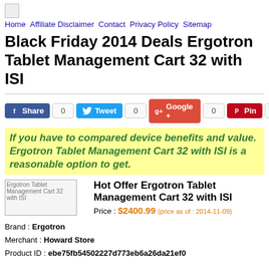Home  Affiliate Disclaimer  Contact  Privacy Policy  Sitemap
Black Friday 2014 Deals Ergotron Tablet Management Cart 32 with ISI
[Figure (infographic): Social share buttons: Share (Facebook), Tweet (Twitter), Google+, Pin (Pinterest), each with count 0]
If you have to compared device benefits and value. Ergotron Tablet Management Cart 32 with ISI is a reasonable option to get.
[Figure (photo): Ergotron Tablet Management Cart 32 with ISI product image placeholder]
Hot Offer Ergotron Tablet Management Cart 32 with ISI
Price : $2400.99 (price as of : 2014-11-09)
Brand : Ergotron
Merchant : Howard Store
Product ID : ebe75fb54502227d773eb6a26da21ef0
[Figure (illustration): Smiley face emoji - yellow circle with winking/smiling face, partially visible at bottom]